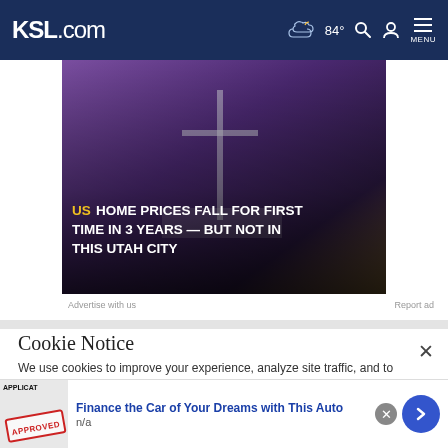KSL.com  84°  MENU
[Figure (photo): News article hero image with text overlay: 'US HOME PRICES FALL FOR FIRST TIME IN 3 YEARS — BUT NOT IN THIS UTAH CITY'. Dark background with a cross/for-sale sign visible.]
Advertise with us
Report ad
Cookie Notice
We use cookies to improve your experience, analyze site traffic, and to personalize content and ads. By continuing to use our site, you consent to our use of cookies. Please visit our Terms of Use and  Privacy Policy for more information
[Figure (photo): Bottom advertisement: 'Finance the Car of Your Dreams with This Auto' with an APPROVED stamp image on the left and n/a text below the title]